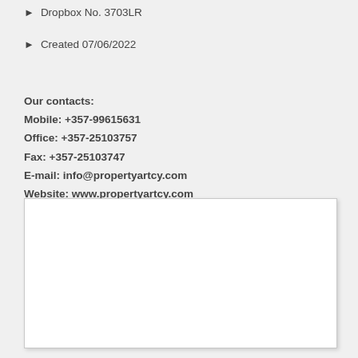Dropbox No. 3703LR
Created 07/06/2022
Our contacts:
Mobile: +357-99615631
Office: +357-25103757
Fax: +357-25103747
E-mail: info@propertyartcy.com
Website: www.propertyartcy.com
[Figure (photo): White rectangular image placeholder box with light border and shadow]